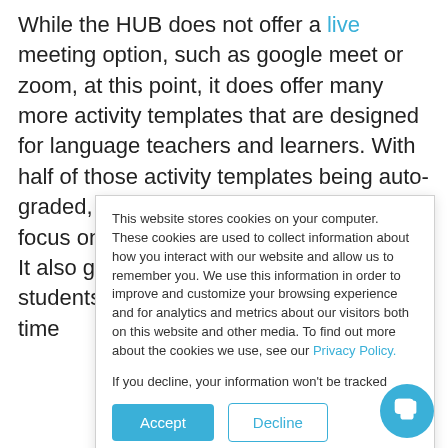While the HUB does not offer a live meeting option, such as google meet or zoom, at this point, it does offer many more activity templates that are designed for language teachers and learners. With half of those activity templates being auto-graded, it frees up your valuable time to focus on your synchronous time together. It also gives you peace of mind that your students are spending their asynchronous time
This website stores cookies on your computer. These cookies are used to collect information about how you interact with our website and allow us to remember you. We use this information in order to improve and customize your browsing experience and for analytics and metrics about our visitors both on this website and other media. To find out more about the cookies we use, see our Privacy Policy.

If you decline, your information won't be tracked when you visit this website. A single cookie will be used in your browser to remember your preference not to be tracked.
Accept | Decline